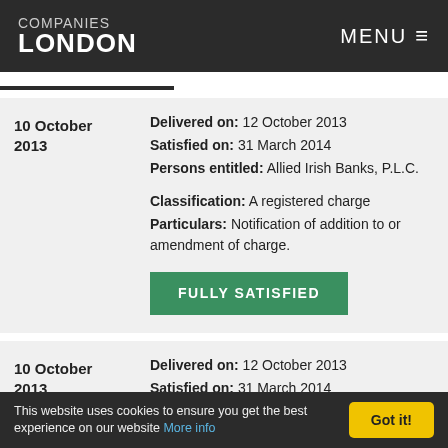COMPANIES LONDON | MENU
| Date | Details |
| --- | --- |
| 10 October 2013 | Delivered on: 12 October 2013
Satisfied on: 31 March 2014
Persons entitled: Allied Irish Banks, P.L.C.

Classification: A registered charge
Particulars: Notification of addition to or amendment of charge.

FULLY SATISFIED |
| 10 October 2013 | Delivered on: 12 October 2013
Satisfied on: 31 March 2014
Persons entitled: Allied Irish Banks P.L.C.

Classification: A registered charge |
This website uses cookies to ensure you get the best experience on our website More info | Got it!